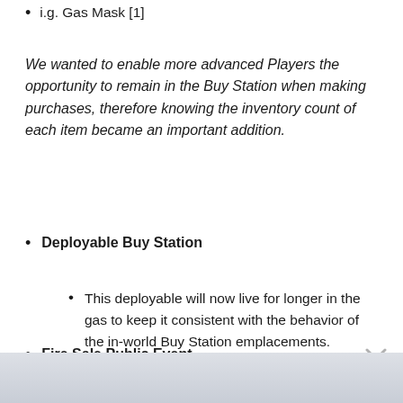i.g. Gas Mask [1]
We wanted to enable more advanced Players the opportunity to remain in the Buy Station when making purchases, therefore knowing the inventory count of each item became an important addition.
Deployable Buy Station
This deployable will now live for longer in the gas to keep it consistent with the behavior of the in-world Buy Station emplacements.
Fire Sale Public Event